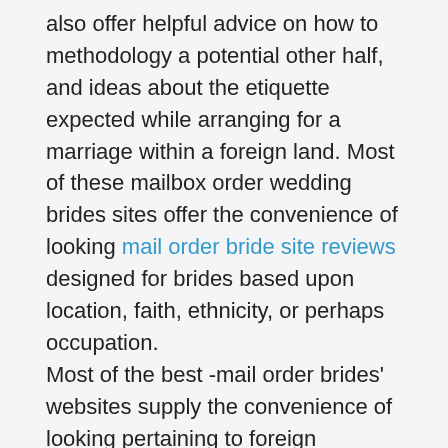also offer helpful advice on how to methodology a potential other half, and ideas about the etiquette expected while arranging for a marriage within a foreign land. Most of these mailbox order wedding brides sites offer the convenience of looking mail order bride site reviews designed for brides based upon location, faith, ethnicity, or perhaps occupation.
Most of the best -mail order brides' websites supply the convenience of looking pertaining to foreign wedding brides based on area, religion, ethnicity, or profession. The data source provided by these websites helps you to refine your search to meet your specific requires. Some mail order brides' websites offer a database that allows you to group the to do this of international brides according to the location they have a home in, according to the racial they belong to, according to the profession